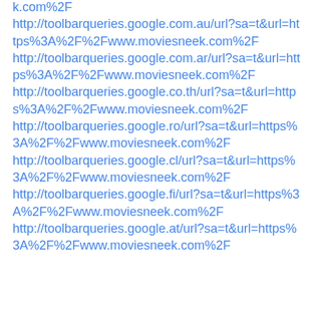k.com%2F
http://toolbarqueries.google.com.au/url?sa=t&url=https%3A%2F%2Fwww.moviesneek.com%2F
http://toolbarqueries.google.com.ar/url?sa=t&url=https%3A%2F%2Fwww.moviesneek.com%2F
http://toolbarqueries.google.co.th/url?sa=t&url=https%3A%2F%2Fwww.moviesneek.com%2F
http://toolbarqueries.google.ro/url?sa=t&url=https%3A%2F%2Fwww.moviesneek.com%2F
http://toolbarqueries.google.cl/url?sa=t&url=https%3A%2F%2Fwww.moviesneek.com%2F
http://toolbarqueries.google.fi/url?sa=t&url=https%3A%2F%2Fwww.moviesneek.com%2F
http://toolbarqueries.google.at/url?sa=t&url=https%3A%2F%2Fwww.moviesneek.com%2F